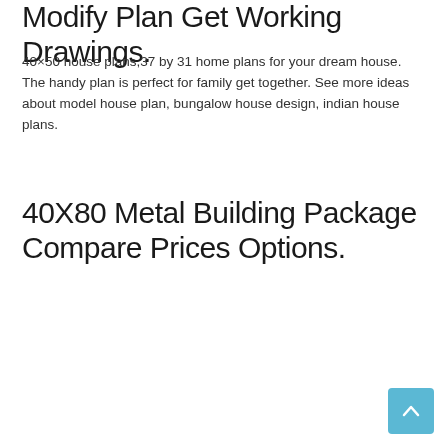Modify Plan Get Working Drawings.
40×50 house plans,37 by 31 home plans for your dream house. The handy plan is perfect for family get together. See more ideas about model house plan, bungalow house design, indian house plans.
40X80 Metal Building Package Compare Prices Options.
[Figure (other): Scroll-to-top button: a teal/blue rounded square button with an upward-pointing chevron arrow icon]